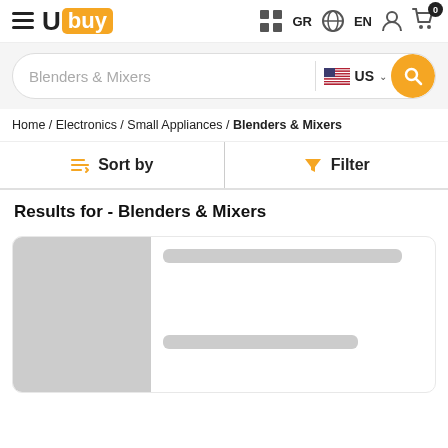Ubuy - GR EN - Cart 0
Blenders & Mixers - US search bar
Home / Electronics / Small Appliances / Blenders & Mixers
Sort by   Filter
Results for - Blenders & Mixers
[Figure (screenshot): Loading skeleton of a product card with grey image placeholder on the left and grey skeleton lines on the right]